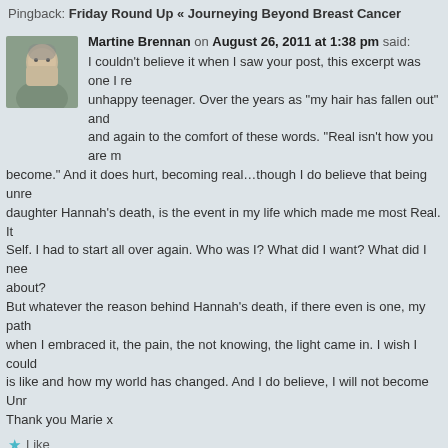Pingback: Friday Round Up « Journeying Beyond Breast Cancer
Martine Brennan on August 26, 2011 at 1:38 pm said:
I couldn't believe it when I saw your post, this excerpt was one I re... unhappy teenager. Over the years as "my hair has fallen out" and ... and again to the comfort of these words. "Real isn't how you are m... become." And it does hurt, becoming real…though I do believe that being unre... daughter Hannah's death, is the event in my life which made me most Real. It ... Self. I had to start all over again. Who was I? What did I want? What did I nee... about? But whatever the reason behind Hannah's death, if there even is one, my path... when I embraced it, the pain, the not knowing, the light came in. I wish I could... is like and how my world has changed. And I do believe, I will not become Unr... Thank you Marie x
Like
Reply ↓
Editor on August 27, 2011 at 9:01 am said:
Oh Martine, what a beautiful comment – I savoured every w...
Like